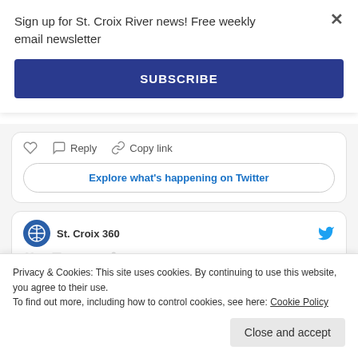Sign up for St. Croix River news! Free weekly email newsletter
SUBSCRIBE
Reply   Copy link
Explore what's happening on Twitter
St. Croix 360
Privacy & Cookies: This site uses cookies. By continuing to use this website, you agree to their use.
To find out more, including how to control cookies, see here: Cookie Policy
Close and accept